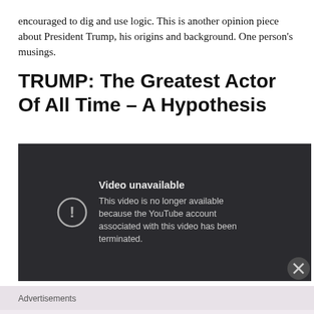encouraged to dig and use logic. This is another opinion piece about President Trump, his origins and background. One person's musings.
TRUMP: The Greatest Actor Of All Time – A Hypothesis
[Figure (screenshot): Embedded YouTube video showing 'Video unavailable' error message: 'This video is no longer available because the YouTube account associated with this video has been terminated.']
Advertisements